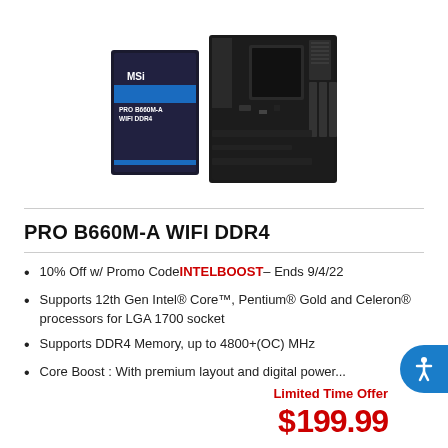[Figure (photo): MSI PRO B660M-A WIFI DDR4 motherboard product photo with box and board shown side by side]
PRO B660M-A WIFI DDR4
10% Off w/ Promo Code INTELBOOST – Ends 9/4/22
Supports 12th Gen Intel® Core™, Pentium® Gold and Celeron® processors for LGA 1700 socket
Supports DDR4 Memory, up to 4800+(OC) MHz
Core Boost : With premium layout and digital power...
Limited Time Offer
$199.99